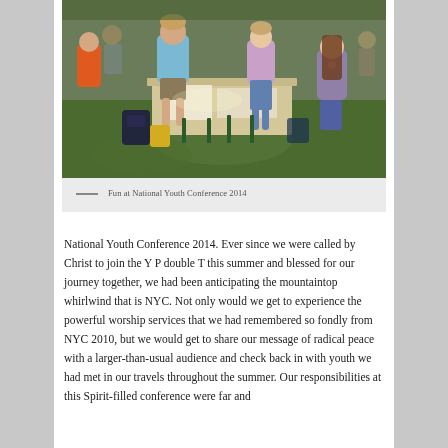[Figure (photo): Outdoor scene of youth gathered around a table on grass, engaged in an activity at National Youth Conference 2014. Various teens and young adults visible, some seated, some standing.]
— Fun at National Youth Conference 2014
National Youth Conference 2014. Ever since we were called by Christ to join the Y P double T this summer and blessed for our journey together, we had been anticipating the mountaintop whirlwind that is NYC. Not only would we get to experience the powerful worship services that we had remembered so fondly from NYC 2010, but we would get to share our message of radical peace with a larger-than-usual audience and check back in with youth we had met in our travels throughout the summer. Our responsibilities at this Spirit-filled conference were far and